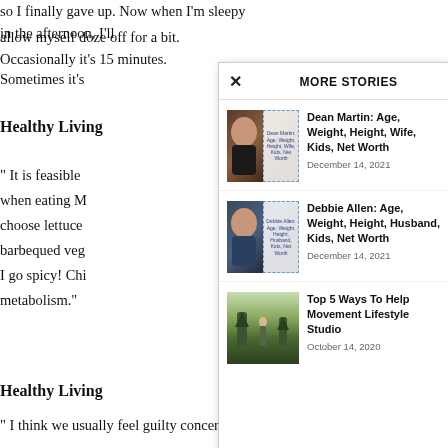so I finally gave up. Now when I'm sleepy in the afternoon, I'll allow myself doze off for a bit. Occasionally it's 15 minutes.
Sometimes it's
Healthy Living
" It is feasible when eating M choose lettuce barbequed veg I go spicy! Chi metabolism."
Healthy Living
" I think we usually feel guilty concerning playing,' but requiring
[Figure (screenshot): More Stories modal overlay showing three article links with thumbnails: Dean Martin bio, Debbie Allen bio, and Top 5 Ways To Help Movement Lifestyle Studio.]
Dean Martin: Age, Weight, Height, Wife, Kids, Net Worth — December 14, 2021
Debbie Allen: Age, Weight, Height, Husband, Kids, Net Worth — December 14, 2021
Top 5 Ways To Help Movement Lifestyle Studio — October 14, 2020